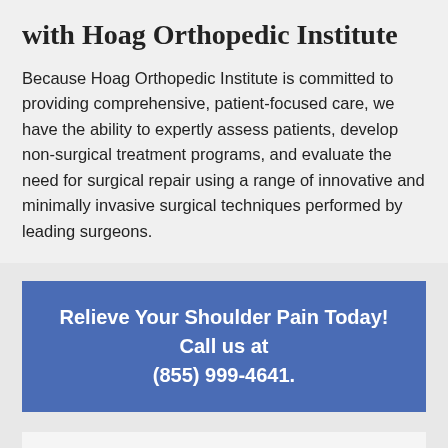with Hoag Orthopedic Institute
Because Hoag Orthopedic Institute is committed to providing comprehensive, patient-focused care, we have the ability to expertly assess patients, develop non-surgical treatment programs, and evaluate the need for surgical repair using a range of innovative and minimally invasive surgical techniques performed by leading surgeons.
Relieve Your Shoulder Pain Today! Call us at (855) 999-4641.
Shoulder